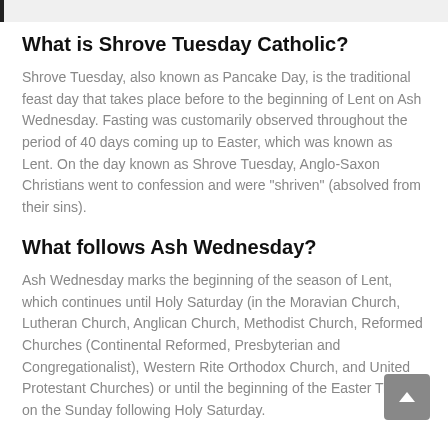What is Shrove Tuesday Catholic?
Shrove Tuesday, also known as Pancake Day, is the traditional feast day that takes place before to the beginning of Lent on Ash Wednesday. Fasting was customarily observed throughout the period of 40 days coming up to Easter, which was known as Lent. On the day known as Shrove Tuesday, Anglo-Saxon Christians went to confession and were "shriven" (absolved from their sins).
What follows Ash Wednesday?
Ash Wednesday marks the beginning of the season of Lent, which continues until Holy Saturday (in the Moravian Church, Lutheran Church, Anglican Church, Methodist Church, Reformed Churches (Continental Reformed, Presbyterian and Congregationalist), Western Rite Orthodox Church, and United Protestant Churches) or until the beginning of the Easter Triduum on the Sunday following Holy Saturday.